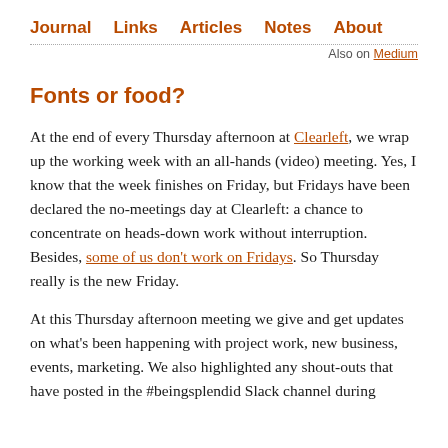Journal  Links  Articles  Notes  About
Also on Medium
Fonts or food?
At the end of every Thursday afternoon at Clearleft, we wrap up the working week with an all-hands (video) meeting. Yes, I know that the week finishes on Friday, but Fridays have been declared the no-meetings day at Clearleft: a chance to concentrate on heads-down work without interruption. Besides, some of us don't work on Fridays. So Thursday really is the new Friday.
At this Thursday afternoon meeting we give and get updates on what's been happening with project work, new business, events, marketing. We also highlighted any shout-outs that have posted in the #beingsplendid Slack channel during